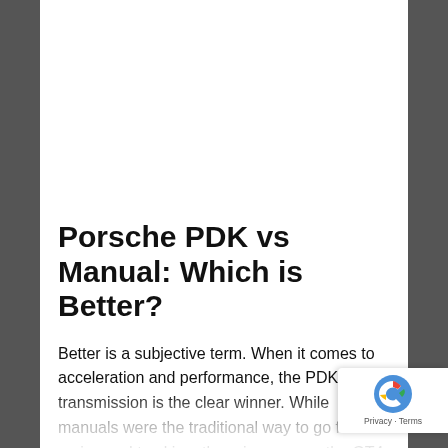Porsche PDK vs Manual: Which is Better?
Better is a subjective term. When it comes to acceleration and performance, the PDK transmission is the clear winner. While manuals were the traditional way to go for racing and tracking, there is a reason the GT4 RS only comes with the PDK a also why the PDK is the standard option for the G